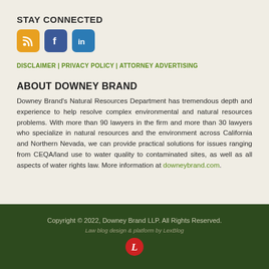STAY CONNECTED
[Figure (illustration): Three social media icons: RSS feed (orange), Facebook (blue), LinkedIn (blue)]
DISCLAIMER | PRIVACY POLICY | ATTORNEY ADVERTISING
ABOUT DOWNEY BRAND
Downey Brand's Natural Resources Department has tremendous depth and experience to help resolve complex environmental and natural resources problems. With more than 90 lawyers in the firm and more than 30 lawyers who specialize in natural resources and the environment across California and Northern Nevada, we can provide practical solutions for issues ranging from CEQA/land use to water quality to contaminated sites, as well as all aspects of water rights law. More information at downeybrand.com.
Copyright © 2022, Downey Brand LLP. All Rights Reserved.
Law blog design & platform by LexBlog